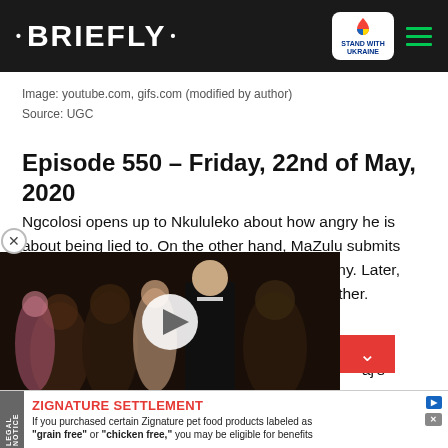• BRIEFLY •
Image: youtube.com, gifs.com (modified by author)
Source: UGC
Episode 550 – Friday, 22nd of May, 2020
Ngcolosi opens up to Nkululeko about how angry he is about being lied to. On the other hand, MaZulu submits the forged documents to the insurance company. Later, she makes a [decision to keep them] away from one another. Nkululeko [ends up] behind bars.
[...] aj's documents and comes [...] However, Nokuzola is [...] he is a threat to her job
[Figure (screenshot): Video thumbnail showing people in formal attire at what appears to be an awards event, with a white play button overlaid in the center]
[Figure (infographic): Advertisement banner: ZIGNATURE SETTLEMENT - If you purchased certain Zignature pet food products labeled as 'grain free' or 'chicken free,' you may be eligible for benefits]